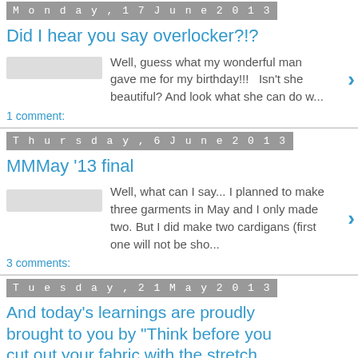Monday, 17 June 2013
Did I hear you say overlocker?!?
Well, guess what my wonderful man gave me for my birthday!!!   Isn't she beautiful? And look what she can do w...
1 comment:
Thursday, 6 June 2013
MMMay '13 final
Well, what can I say... I planned to make three garments in May and I only made two. But I did make two cardigans (first one will not be sho...
3 comments:
Tuesday, 21 May 2013
And today's learnings are proudly brought to you by "Think before you cut out your fabric with the stretch going the wrong way"